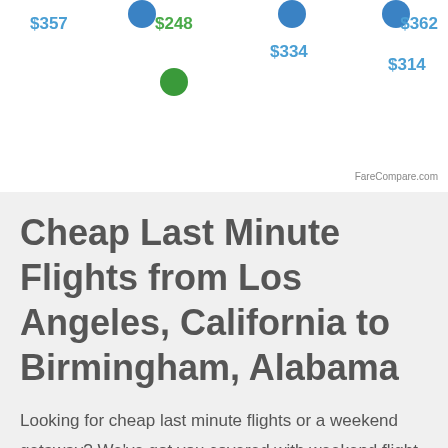[Figure (other): Partial fare comparison chart showing flight prices as colored dots with dollar amounts: $357 (blue), $248 (green dot, blue label), $334 (blue label, blue dot above), $314 (blue label, blue dot above), $362 (blue label). FareCompare.com credit bottom right.]
Cheap Last Minute Flights from Los Angeles, California to Birmingham, Alabama
Looking for cheap last minute flights or a weekend getaway? We've got you covered with weekend flight deals from Los Angeles, California to Birmingham, Alabama. The chart below shows the best last minute